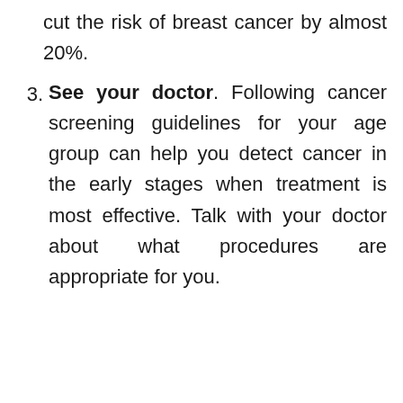cut the risk of breast cancer by almost 20%.
3. See your doctor. Following cancer screening guidelines for your age group can help you detect cancer in the early stages when treatment is most effective. Talk with your doctor about what procedures are appropriate for you.